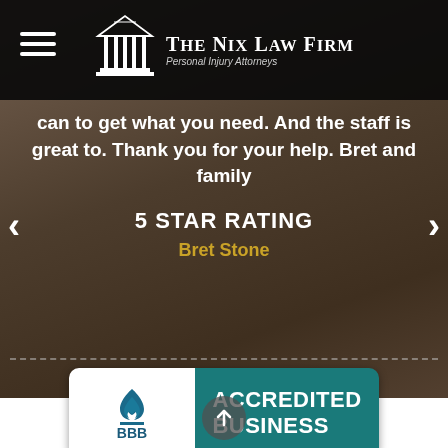The Nix Law Firm — Personal Injury Attorneys
can to get what you need. And the staff is great to. Thank you for your help. Bret and family
5 STAR RATING
Bret Stone
[Figure (logo): BBB Accredited Business badge with teal background and white BBB flame logo on left white panel]
ACCREDITED BUSINESS